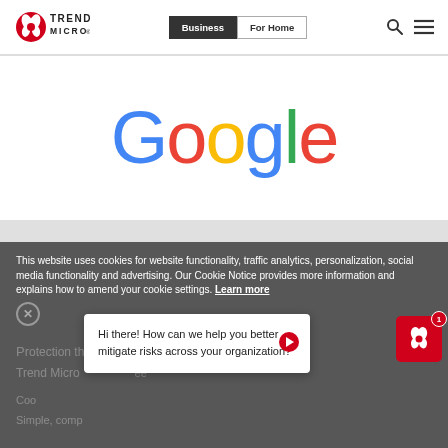[Figure (logo): Trend Micro logo with butterfly icon and TREND MICRO text]
[Figure (screenshot): Navigation bar with Business and For Home buttons, search icon and hamburger menu]
[Figure (logo): Google logo in multicolor letters: G(blue) o(red) o(yellow) g(blue) l(green) e(red)]
This website uses cookies for website functionality, traffic analytics, personalization, social media functionality and advertising. Our Cookie Notice provides more information and explains how to amend your cookie settings. Learn more
Hi there! How can we help you better mitigate risks across your organization?